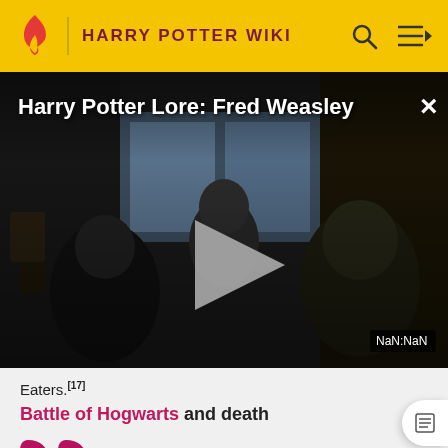HARRY POTTER WIKI
[Figure (screenshot): Video player showing Harry Potter Lore: Fred Weasley with dark scene of characters and a play button overlay. Timestamp shows NaN:NaN.]
Eaters.[17]
Battle of Hogwarts and death
[Figure (illustration): Large magenta quotation mark icon]